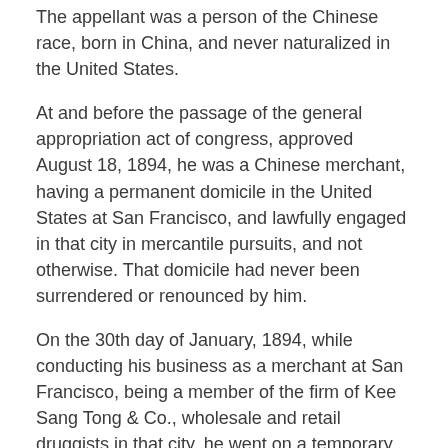The appellant was a person of the Chinese race, born in China, and never naturalized in the United States.
At and before the passage of the general appropriation act of congress, approved August 18, 1894, he was a Chinese merchant, having a permanent domicile in the United States at San Francisco, and lawfully engaged in that city in mercantile pursuits, and not otherwise. That domicile had never been surrendered or renounced by him.
On the 30th day of January, 1894, while conducting his business as a merchant at San Francisco, being a member of the firm of Kee Sang Tong & Co., wholesale and retail druggists in that city, he went on a temporary visit to his native land, with the intention of returning and of continuing his residence in the United States, in the prosecution of that business. He was so engaged for more than two years before his departure for China, and during that time performed no manual labor except as was necessary in the